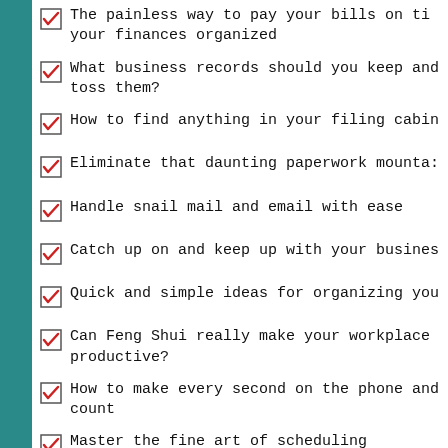The painless way to pay your bills on time and keep your finances organized
What business records should you keep and when can you toss them?
How to find anything in your filing cabinet
Eliminate that daunting paperwork mountain
Handle snail mail and email with ease
Catch up on and keep up with your business
Quick and simple ideas for organizing you
Can Feng Shui really make your workplace more productive?
How to make every second on the phone and count
Master the fine art of scheduling